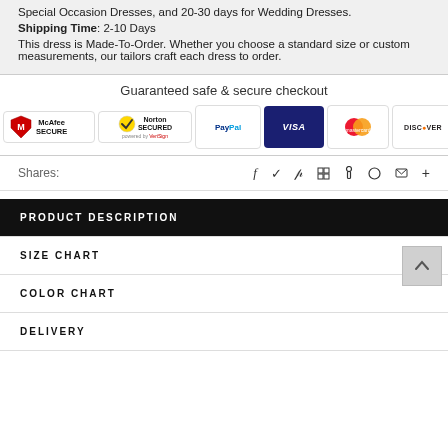Special Occasion Dresses, and 20-30 days for Wedding Dresses.
Shipping Time: 2-10 Days
This dress is Made-To-Order. Whether you choose a standard size or custom measurements, our tailors craft each dress to order.
[Figure (infographic): Guaranteed safe & secure checkout badges: McAfee SECURE, Norton SECURED powered by VeriSign, PayPal, VISA, Mastercard, Discover, American Express]
Shares:
PRODUCT DESCRIPTION
SIZE CHART
COLOR CHART
DELIVERY